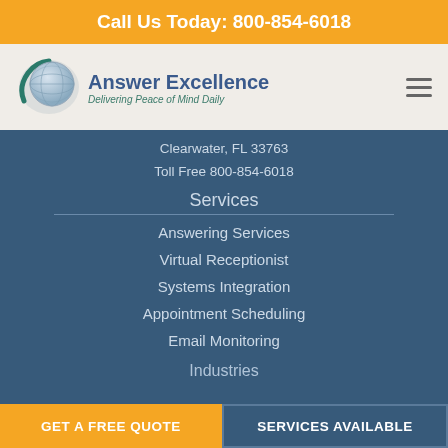Call Us Today: 800-854-6018
[Figure (logo): Answer Excellence logo with globe graphic and tagline 'Delivering Peace of Mind Daily']
Clearwater, FL 33763
Toll Free 800-854-6018
Services
Answering Services
Virtual Receptionist
Systems Integration
Appointment Scheduling
Email Monitoring
Industries
GET A FREE QUOTE   SERVICES AVAILABLE